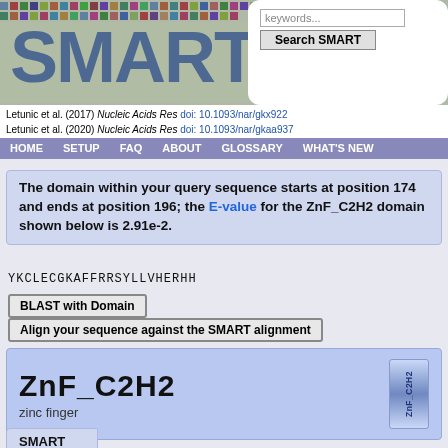[Figure (screenshot): SMART database banner with colorful sequence alignment background and large SMART logo text]
Letunic et al. (2017) Nucleic Acids Res doi: 10.1093/nar/gkx922
Letunic et al. (2020) Nucleic Acids Res doi: 10.1093/nar/gkaa937
HOME  SETUP  FAQ  ABOUT  GLOSSARY  WHAT'S NEW
The domain within your query sequence starts at position 174 and ends at position 196; the E-value for the ZnF_C2H2 domain shown below is 2.91e-2.
YKCLECGKAFFRRSYLLVHERHH
BLAST with Domain
Align your sequence against the SMART alignment
ZnF_C2H2
zinc finger
SMART